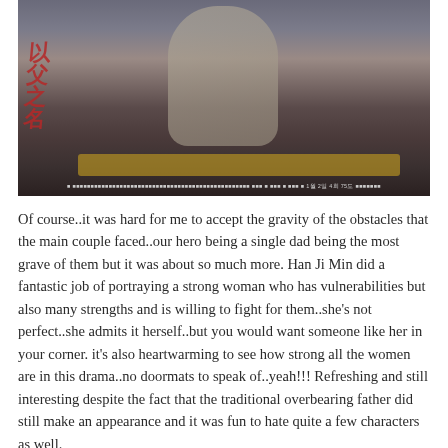[Figure (photo): A still from a Korean drama showing two people sitting together, possibly on a bench. The scene appears indoor or semi-indoor with muted tones. A red Korean text watermark is visible in the lower-left area of the image along with small subtitle/caption text at the bottom.]
Of course..it was hard for me to accept the gravity of the obstacles that the main couple faced..our hero being a single dad being the most grave of them but it was about so much more. Han Ji Min did a fantastic job of portraying a strong woman who has vulnerabilities but also many strengths and is willing to fight for them..she's not perfect..she admits it herself..but you would want someone like her in your corner. it's also heartwarming to see how strong all the women are in this drama..no doormats to speak of..yeah!!! Refreshing and still interesting despite the fact that the traditional overbearing father did still make an appearance and it was fun to hate quite a few characters as well.